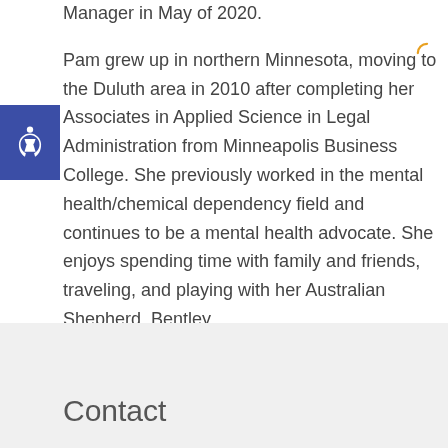Manager in May of 2020.
Pam grew up in northern Minnesota, moving to the Duluth area in 2010 after completing her Associates in Applied Science in Legal Administration from Minneapolis Business College. She previously worked in the mental health/chemical dependency field and continues to be a mental health advocate. She enjoys spending time with family and friends, traveling, and playing with her Australian Shepherd, Bentley.
Contact